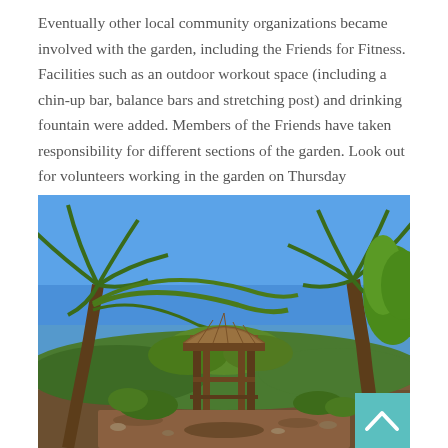Eventually other local community organizations became involved with the garden, including the Friends for Fitness. Facilities such as an outdoor workout space (including a chin-up bar, balance bars and stretching post) and drinking fountain were added. Members of the Friends have taken responsibility for different sections of the garden. Look out for volunteers working in the garden on Thursday mornings.
[Figure (photo): Outdoor garden scene with tall palm trees, lush tropical vegetation, a wooden pergola/gazebo structure in the center, blue sky above, and a teal back-to-top button in the bottom right corner.]